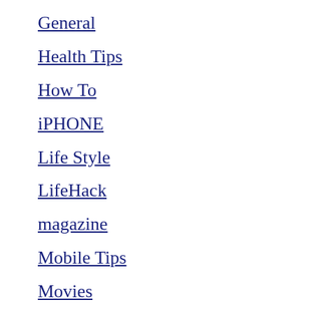General
Health Tips
How To
iPHONE
Life Style
LifeHack
magazine
Mobile Tips
Movies
NEWS